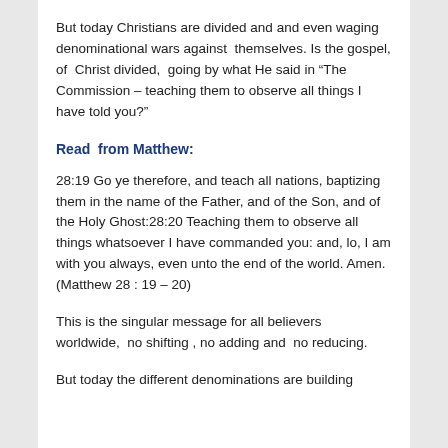But today Christians are divided and and even waging denominational wars against  themselves. Is the gospel, of  Christ divided,  going by what He said in “The Commission – teaching them to observe all things I have told you?”
Read  from Matthew:
28:19 Go ye therefore, and teach all nations, baptizing them in the name of the Father, and of the Son, and of the Holy Ghost:28:20 Teaching them to observe all things whatsoever I have commanded you: and, lo, I am with you always, even unto the end of the world. Amen. (Matthew 28 : 19 – 20)
This is the singular message for all believers worldwide,  no shifting , no adding and  no reducing.
But today the different denominations are building